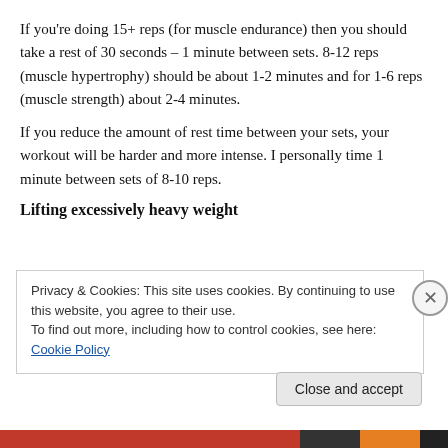If you're doing 15+ reps (for muscle endurance) then you should take a rest of 30 seconds – 1 minute between sets. 8-12 reps (muscle hypertrophy) should be about 1-2 minutes and for 1-6 reps (muscle strength) about 2-4 minutes.
If you reduce the amount of rest time between your sets, your workout will be harder and more intense. I personally time 1 minute between sets of 8-10 reps.
Lifting excessively heavy weight
Privacy & Cookies: This site uses cookies. By continuing to use this website, you agree to their use.
To find out more, including how to control cookies, see here: Cookie Policy